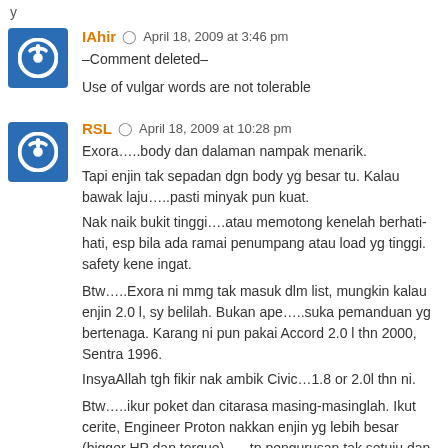y
IAhir  ⊙  April 18, 2009 at 3:46 pm
–Comment deleted–
Use of vulgar words are not tolerable
RSL  ⊙  April 18, 2009 at 10:28 pm
Exora…..body dan dalaman nampak menarik.
Tapi enjin tak sepadan dgn body yg besar tu. Kalau bawak laju…..pasti minyak pun kuat.
Nak naik bukit tinggi….atau memotong kenelah berhati-hati, esp bila ada ramai penumpang atau load yg tinggi. safety kene ingat.

Btw…..Exora ni mmg tak masuk dlm list, mungkin kalau enjin 2.0 l, sy belilah. Bukan ape…..suka pemanduan yg bertenaga. Karang ni pun pakai Accord 2.0 l thn 2000, Sentra 1996.
InsyaAllah tgh fikir nak ambik Civic…1.8 or 2.0l thn ni.

Btw…..ikur poket dan citarasa masing-masinglah. Ikut cerite, Engineer Proton nakkan enjin yg lebih besar (bigger HP dan torque)….. tp pengurusan tak setuju dan sampak keluar…